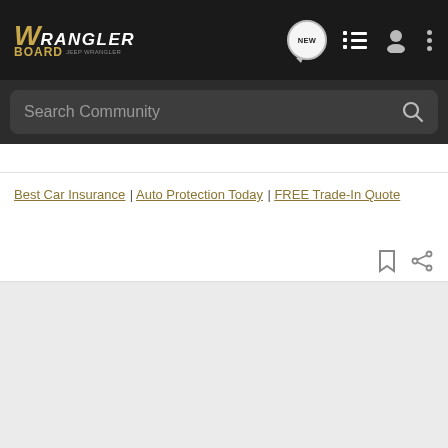[Figure (screenshot): WranglerBoard website header navigation bar with logo, NEW chat bubble icon, list icon, user icon, and more icon on dark background]
[Figure (screenshot): Search Community search bar on dark background]
Best Car Insurance | Auto Protection Today | FREE Trade-In Quote
[Figure (screenshot): Bookmark and share icons on right side]
[Figure (screenshot): Gray content area below the navigation]